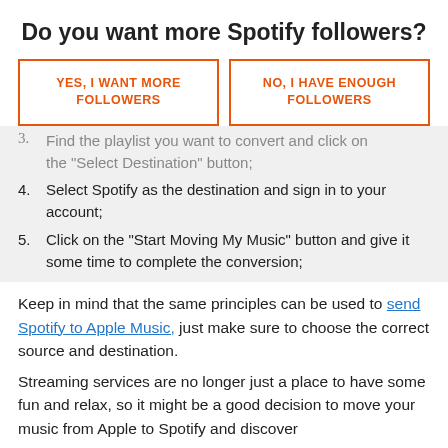Do you want more Spotify followers?
YES, I WANT MORE FOLLOWERS
NO, I HAVE ENOUGH FOLLOWERS
Find the playlist you want to convert and click on the “Select Destination” button;
Select Spotify as the destination and sign in to your account;
Click on the “Start Moving My Music” button and give it some time to complete the conversion;
Keep in mind that the same principles can be used to send Spotify to Apple Music, just make sure to choose the correct source and destination.
Streaming services are no longer just a place to have some fun and relax, so it might be a good decision to move your music from Apple to Spotify and discover